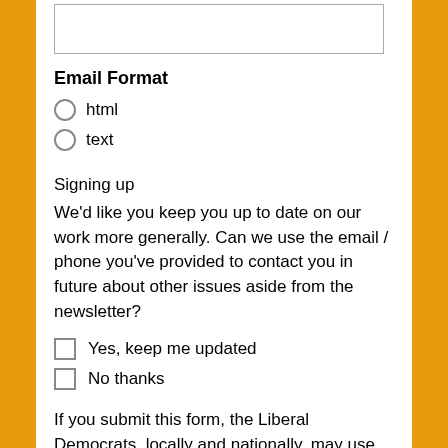[text input box]
Email Format
html
text
Signing up
We'd like you keep you up to date on our work more generally. Can we use the email / phone you've provided to contact you in future about other issues aside from the newsletter?
Yes, keep me updated
No thanks
If you submit this form, the Liberal Democrats, locally and nationally, may use information provided, including